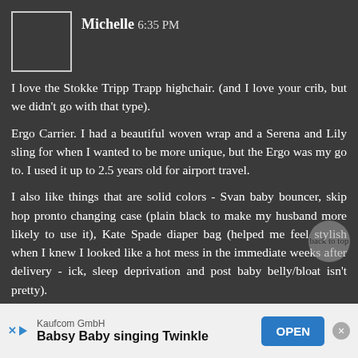[Figure (other): User avatar placeholder box (empty square with border)]
Michelle 6:35 PM
I love the Stokke Tripp Trapp highchair. (and I love your crib, but we didn't go with that type).

Ergo Carrier. I had a beautiful woven wrap and a Serena and Lily sling for when I wanted to be more unique, but the Ergo was my go to. I used it up to 2.5 years old for airport travel.

I also like things that are solid colors - Svan baby bouncer, skip hop pronto changing case (plain black to make my husband more likely to use it), Kate Spade diaper bag (helped me feel stylish when I knew I looked like a hot mess in the immediate weeks after delivery - ick, sleep deprivation and post baby belly/bloat isn't pretty).

As for stores - albee baby, land of nod, and to my
Kaufcom GmbH
Babsy Baby singing Twinkle
OPEN